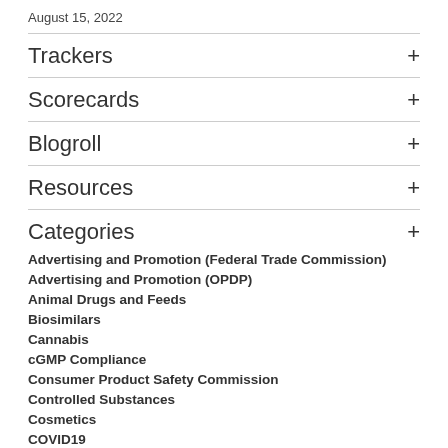August 15, 2022
Trackers
Scorecards
Blogroll
Resources
Categories
Advertising and Promotion (Federal Trade Commission)
Advertising and Promotion (OPDP)
Animal Drugs and Feeds
Biosimilars
Cannabis
cGMP Compliance
Consumer Product Safety Commission
Controlled Substances
Cosmetics
COVID19